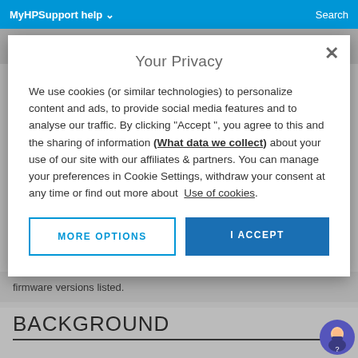MyHPSupport help   Search
Your Privacy
We use cookies (or similar technologies) to personalize content and ads, to provide social media features and to analyse our traffic. By clicking "Accept ", you agree to this and the sharing of information (What data we collect) about your use of our site with our affiliates & partners. You can manage your preferences in Cookie Settings, withdraw your consent at any time or find out more about  Use of cookies.
MORE OPTIONS
I ACCEPT
firmware versions listed.
BACKGROUND